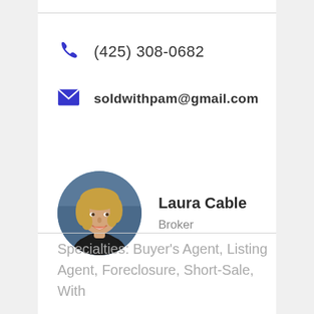(425) 308-0682
soldwithpam@gmail.com
[Figure (photo): Circular headshot photo of Laura Cable, a blonde woman smiling, wearing dark clothing against a blue background]
Laura Cable
Broker
Specialties: Buyer's Agent, Listing Agent, Foreclosure, Short-Sale, With